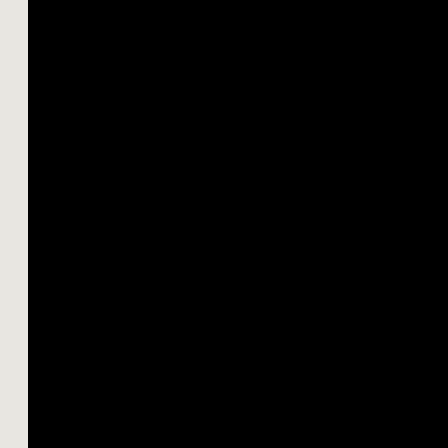[Figure (other): Large black rectangular panel occupying the left portion of the page]
from the original world   re
as elements of the periodic ta
contrapuntal pairs of infinite

composing this
voluble world,
this ocean      island
chair     this
memory of you seated
in a high school biology clas
that sat me down beside you
before a light microscope,
to unravel the orbed onion,
attuned my sight to elegant c
of another life, of a universe
in a cell